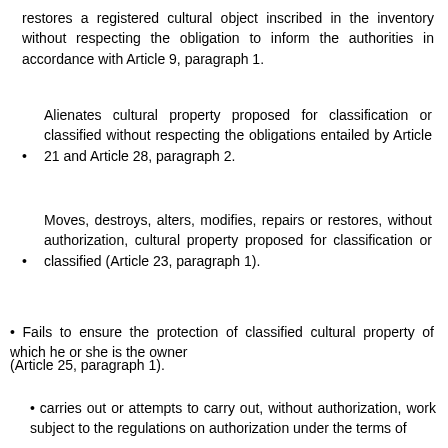restores a registered cultural object inscribed in the inventory without respecting the obligation to inform the authorities in accordance with Article 9, paragraph 1.
Alienates cultural property proposed for classification or classified without respecting the obligations entailed by Article 21 and Article 28, paragraph 2.
Moves, destroys, alters, modifies, repairs or restores, without authorization, cultural property proposed for classification or classified (Article 23, paragraph 1).
Fails to ensure the protection of classified cultural property of which he or she is the owner
(Article 25, paragraph 1).
carries out or attempts to carry out, without authorization, work subject to the regulations on authorization under the terms of